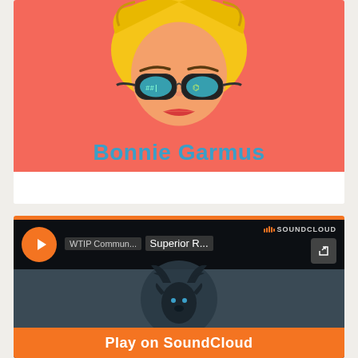[Figure (illustration): Book cover illustration showing pop-art style face of a woman with blonde hair, sunglasses with lab equipment reflected in lenses, red lips, on a coral/salmon background with author name 'Bonnie Garmus' in teal bold text below]
[Figure (screenshot): SoundCloud embedded player widget showing WTIP Community radio station with 'Superior R...' track title, dark background with deer antler logo illustration in teal/dark tones, orange play button, orange 'Play on SoundCloud' bar at bottom]